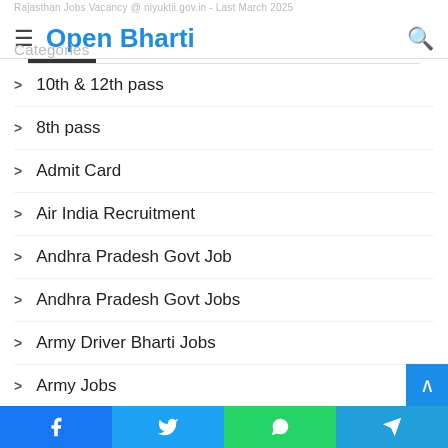Rajasthan Jobs Vacancy @ niyuktii.gov.in - Last March 2025
Open Bharti
Categories
10th & 12th pass
8th pass
Admit Card
Air India Recruitment
Andhra Pradesh Govt Job
Andhra Pradesh Govt Jobs
Army Driver Bharti Jobs
Army Jobs
Army Rally Bharti
Army Recruitment